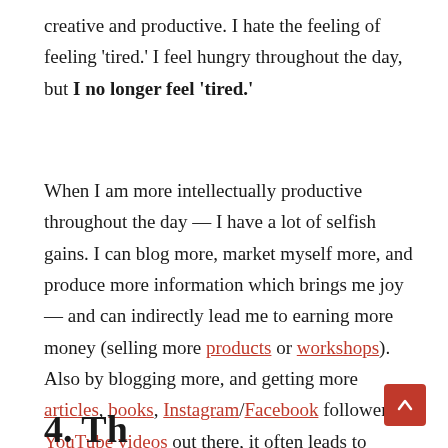creative and productive. I hate the feeling of feeling 'tired.' I feel hungry throughout the day, but I no longer feel 'tired.'
When I am more intellectually productive throughout the day — I have a lot of selfish gains. I can blog more, market myself more, and produce more information which brings me joy — and can indirectly lead me to earning more money (selling more products or workshops). Also by blogging more, and getting more articles, books, Instagram/Facebook followers, YouTube videos out there, it often leads to commercial deals.
4. Th...